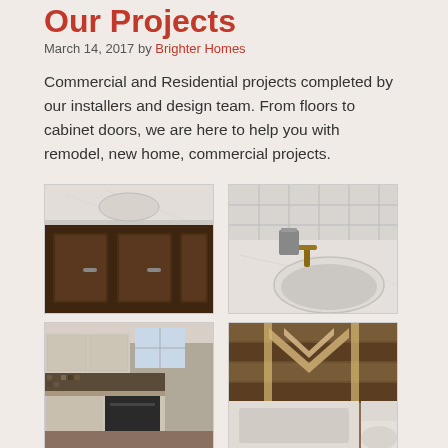Our Projects
March 14, 2017 by Brighter Homes
Commercial and Residential projects completed by our installers and design team. From floors to cabinet doors, we are here to help you with remodel, new home, commercial projects.
[Figure (photo): Bathroom vanity with dark brown wood cabinets and white marble countertop]
[Figure (photo): Bathroom sink with white marble countertop, backsplash tile, and bronze faucet fixtures]
[Figure (photo): Kitchen with light wood cabinets, dark mosaic tile backsplash, and dark appliances]
[Figure (photo): Bathroom with decorative wood-look tile pattern on wall, bathtub, and toilet]
[Figure (photo): Partially visible photo at bottom left]
[Figure (photo): Partially visible photo at bottom right]